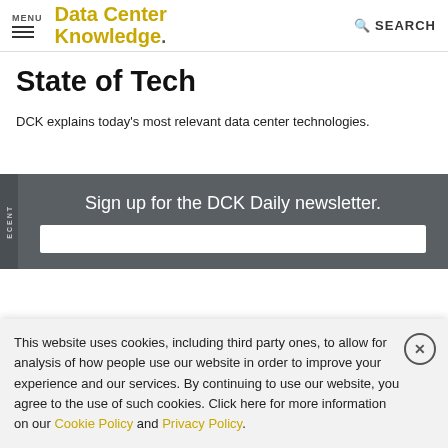MENU | DataCenter Knowledge. | SEARCH
State of Tech
DCK explains today's most relevant data center technologies.
Sign up for the DCK Daily newsletter.
This website uses cookies, including third party ones, to allow for analysis of how people use our website in order to improve your experience and our services. By continuing to use our website, you agree to the use of such cookies. Click here for more information on our Cookie Policy and Privacy Policy.